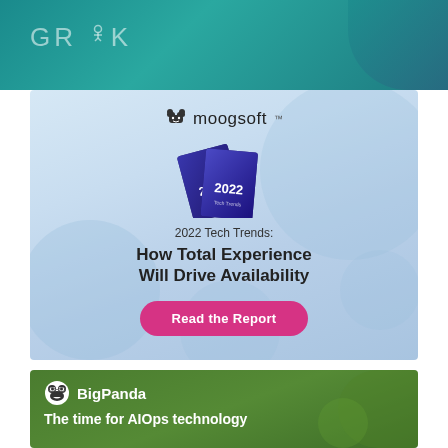[Figure (logo): Grok logo text on teal/dark background banner at top of page]
[Figure (infographic): Moogsoft advertisement banner with light blue background. Shows Moogsoft logo with bull icon, two dark book covers labeled '2022', subtext '2022 Tech Trends:', bold headline 'How Total Experience Will Drive Availability', and a pink 'Read the Report' button.]
[Figure (infographic): BigPanda advertisement banner with dark green background. Shows BigPanda logo with panda icon, bold white text 'The time for AIOps technology has come— are you ready?', a yellow 'Learn more' button, and a white booklet labeled 'Pragmatic AIOps: A Buyer's Guide'.]